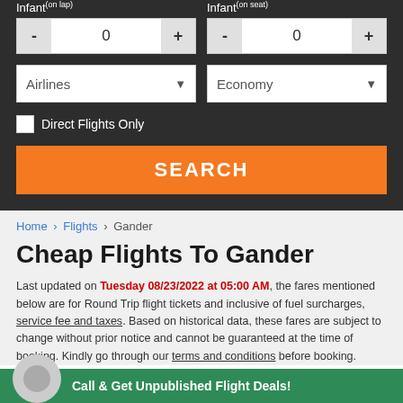Infant(on lap)
Infant(on seat)
- 0 +
- 0 +
Airlines ▼
Economy ▼
Direct Flights Only
SEARCH
Home › Flights › Gander
Cheap Flights To Gander
Last updated on Tuesday 08/23/2022 at 05:00 AM, the fares mentioned below are for Round Trip flight tickets and inclusive of fuel surcharges, service fee and taxes. Based on historical data, these fares are subject to change without prior notice and cannot be guaranteed at the time of booking. Kindly go through our terms and conditions before booking.
Call & Get Unpublished Flight Deals!